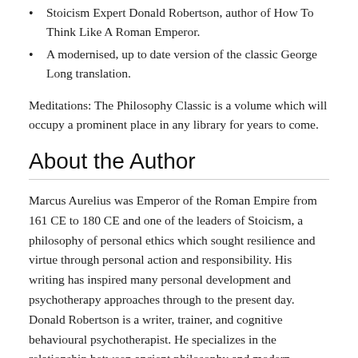Stoicism Expert Donald Robertson, author of How To Think Like A Roman Emperor.
A modernised, up to date version of the classic George Long translation.
Meditations: The Philosophy Classic is a volume which will occupy a prominent place in any library for years to come.
About the Author
Marcus Aurelius was Emperor of the Roman Empire from 161 CE to 180 CE and one of the leaders of Stoicism, a philosophy of personal ethics which sought resilience and virtue through personal action and responsibility. His writing has inspired many personal development and psychotherapy approaches through to the present day. Donald Robertson is a writer, trainer, and cognitive behavioural psychotherapist. He specializes in the relationship between ancient philosophy and modern evidence-based psychological therapy. Donald is the author of six books on philosophy and psychotherapy, including How to Think Like a